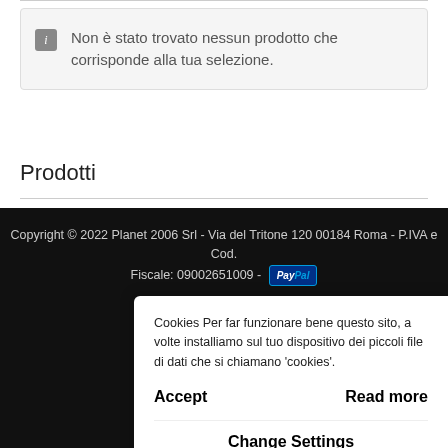Non è stato trovato nessun prodotto che corrisponde alla tua selezione.
Prodotti
Copyright © 2022 Planet 2006 Srl - Via del Tritone 120 00184 Roma - P.IVA e Cod. Fiscale: 09002651009 -
Home
Lola
Cookies Per far funzionare bene questo sito, a volte installiamo sul tuo dispositivo dei piccoli file di dati che si chiamano 'cookies'.
Accept    Read more
Change Settings